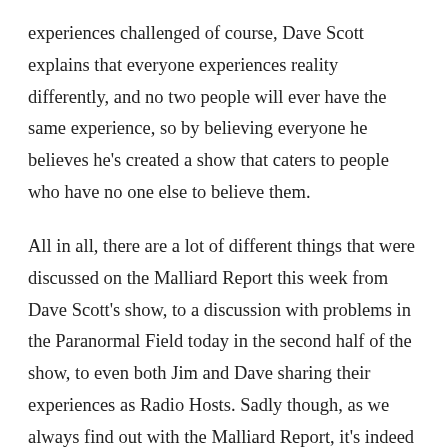experiences challenged of course, Dave Scott explains that everyone experiences reality differently, and no two people will ever have the same experience, so by believing everyone he believes he's created a show that caters to people who have no one else to believe them.
All in all, there are a lot of different things that were discussed on the Malliard Report this week from Dave Scott's show, to a discussion with problems in the Paranormal Field today in the second half of the show, to even both Jim and Dave sharing their experiences as Radio Hosts. Sadly though, as we always find out with the Malliard Report, it's indeed the fastest hour in paranormal talk radio, and we have to end eventually. Luckily though, Jim has enough time to share his thoughts with us this week, and as he's always fond of saying to everyone. Stay